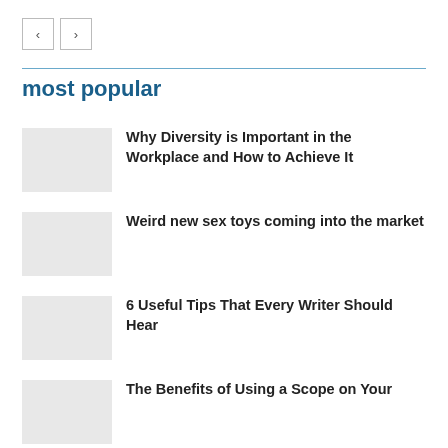[Figure (other): Navigation back and forward arrow buttons]
most popular
Why Diversity is Important in the Workplace and How to Achieve It
Weird new sex toys coming into the market
6 Useful Tips That Every Writer Should Hear
The Benefits of Using a Scope on Your